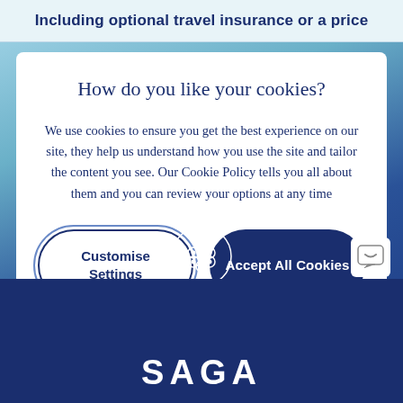Including optional travel insurance or a price
How do you like your cookies?
We use cookies to ensure you get the best experience on our site, they help us understand how you use the site and tailor the content you see. Our Cookie Policy tells you all about them and you can review your options at any time
Customise Settings
Accept All Cookies
[Figure (logo): Saga decorative circular logo icon in white on dark blue background]
SAGA